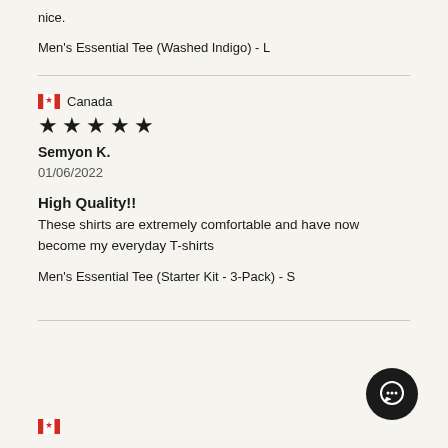nice.
Men's Essential Tee (Washed Indigo) - L
Canada
★★★★★
Semyon K.
01/06/2022
High Quality!!
These shirts are extremely comfortable and have now become my everyday T-shirts
Men's Essential Tee (Starter Kit - 3-Pack) - S